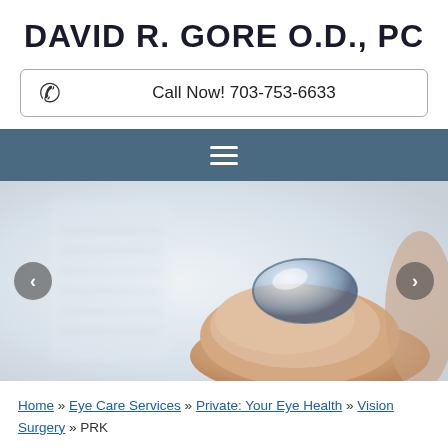DAVID R. GORE O.D., PC
Call Now! 703-753-6633
[Figure (screenshot): Navigation bar with hamburger menu icon on steel blue background]
[Figure (photo): Close-up photo of a contact lens resting on a fingertip, blurred eye chart background]
Home » Eye Care Services » Private: Your Eye Health » Vision Surgery » PRK